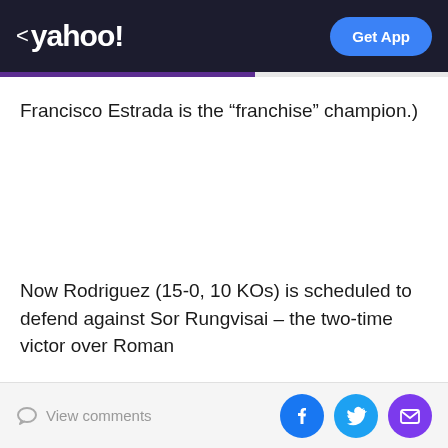< yahoo! Get App
Francisco Estrada is the “franchise” champion.)
Now Rodriguez (15-0, 10 KOs) is scheduled to defend against Sor Rungvisai – the two-time victor over Roman
View comments [Facebook] [Twitter] [Email]